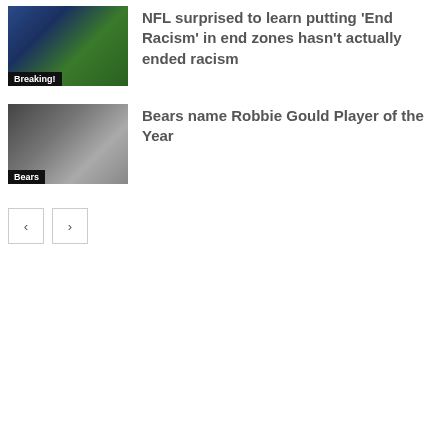[Figure (photo): Football field end zone photo with blue and yellow markings, badge reads 'Breaking!']
NFL surprised to learn putting 'End Racism' in end zones hasn't actually ended racism
[Figure (photo): Football player wearing jersey number 9 with arms raised, badge reads 'Bears']
Bears name Robbie Gould Player of the Year